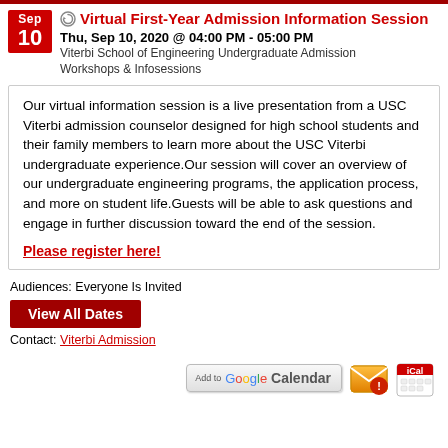Virtual First-Year Admission Information Session
Thu, Sep 10, 2020 @ 04:00 PM - 05:00 PM
Viterbi School of Engineering Undergraduate Admission Workshops & Infosessions
Our virtual information session is a live presentation from a USC Viterbi admission counselor designed for high school students and their family members to learn more about the USC Viterbi undergraduate experience.Our session will cover an overview of our undergraduate engineering programs, the application process, and more on student life.Guests will be able to ask questions and engage in further discussion toward the end of the session.

Please register here!
Audiences: Everyone Is Invited
View All Dates
Contact: Viterbi Admission
[Figure (logo): Add to Google Calendar button, email icon, and iCal icon]